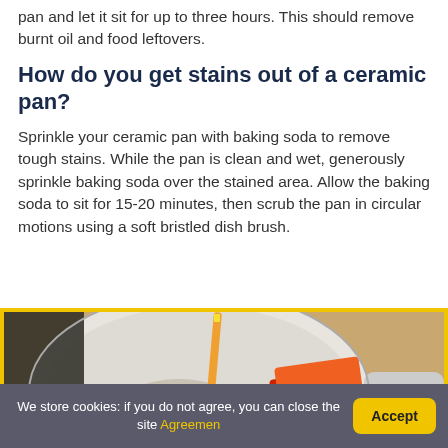pan and let it sit for up to three hours. This should remove burnt oil and food leftovers.
How do you get stains out of a ceramic pan?
Sprinkle your ceramic pan with baking soda to remove tough stains. While the pan is clean and wet, generously sprinkle baking soda over the stained area. Allow the baking soda to sit for 15-20 minutes, then scrub the pan in circular motions using a soft bristled dish brush.
[Figure (photo): Photo of a white ceramic pan with baking soda residue and a dish brush inside, with an orange/red label visible. Yellow border frame around image.]
We store cookies: if you do not agree, you can close the site Agreemen